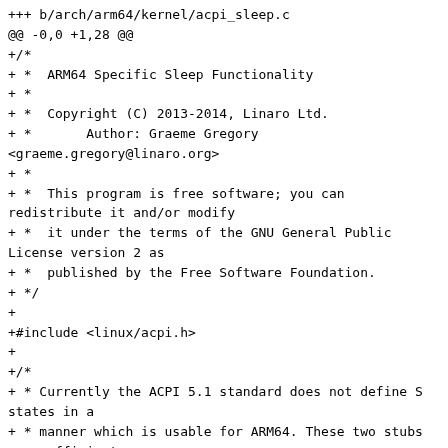+++ b/arch/arm64/kernel/acpi_sleep.c
@@ -0,0 +1,28 @@
+/*
+ *  ARM64 Specific Sleep Functionality
+ *
+ *  Copyright (C) 2013-2014, Linaro Ltd.
+ *       Author: Graeme Gregory <graeme.gregory@linaro.org>
+ *
+ *  This program is free software; you can redistribute it and/or modify
+ *  it under the terms of the GNU General Public License version 2 as
+ *  published by the Free Software Foundation.
+ */
+
+#include <linux/acpi.h>
+
+/*
+ * Currently the ACPI 5.1 standard does not define S states in a
+ * manner which is usable for ARM64. These two stubs are sufficient
+ * that system initialises and device PM works.
+ */
+u32 acpi_target_system_state(void)
+{
+        return ACPI_STATE_S0;
+}
+EXPORT_SYMBOL_GPL(acpi_target_system_state);